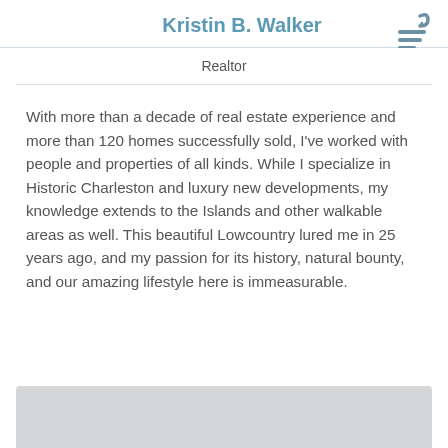Kristin B. Walker
Realtor
With more than a decade of real estate experience and more than 120 homes successfully sold, I've worked with people and properties of all kinds. While I specialize in Historic Charleston and luxury new developments, my knowledge extends to the Islands and other walkable areas as well. This beautiful Lowcountry lured me in 25 years ago, and my passion for its history, natural bounty, and our amazing lifestyle here is immeasurable.
[Figure (photo): Light gray rectangular image area at the bottom of the page]